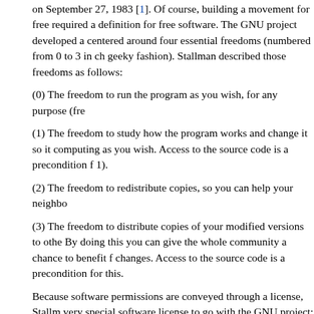on September 27, 1983 [1]. Of course, building a movement for free required a definition for free software. The GNU project developed a centered around four essential freedoms (numbered from 0 to 3 in ch geeky fashion). Stallman described those freedoms as follows:
(0) The freedom to run the program as you wish, for any purpose (fre
(1) The freedom to study how the program works and change it so it computing as you wish. Access to the source code is a precondition f 1).
(2) The freedom to redistribute copies, so you can help your neighbo
(3) The freedom to distribute copies of your modified versions to othe By doing this you can give the whole community a chance to benefit f changes. Access to the source code is a precondition for this.
Because software permissions are conveyed through a license, Stall very special software license to go with the GNU project: the GNU Ge License (GPL).
By now almost everyone in the FOSS space is aware of the GPL and central tenet: If you distribute a modified version of this software in bi have to send the source code along with it, so others can also make and so everyone (at least theoretically) can see exactly what the cod